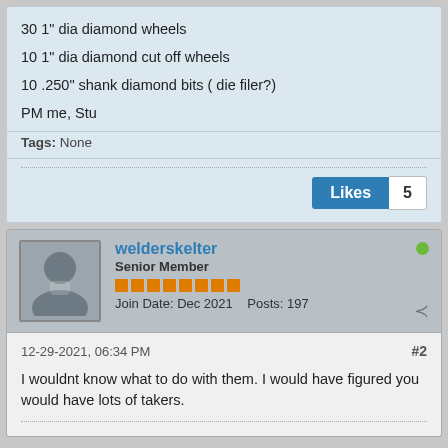30 1" dia diamond wheels
10 1" dia diamond cut off wheels
10 .250" shank diamond bits ( die filer?)
PM me, Stu
Tags: None
Likes 5
welderskelter
Senior Member
Join Date: Dec 2021  Posts: 197
12-29-2021, 06:34 PM  #2
I wouldnt know what to do with them. I would have figured you would have lots of takers.